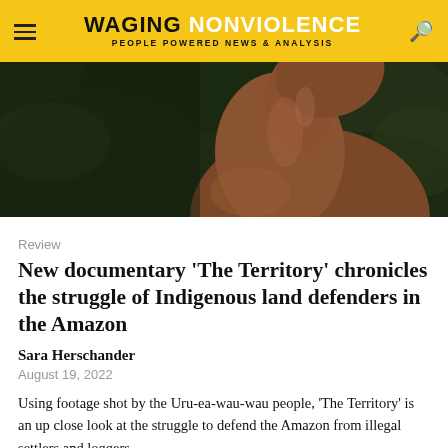WAGING NONVIOLENCE — PEOPLE POWERED NEWS & ANALYSIS
[Figure (photo): Close-up photograph of an Indigenous person's shoulder and neck against a dark green foliage background]
Review
New documentary 'The Territory' chronicles the struggle of Indigenous land defenders in the Amazon
Sara Herschander
August 19, 2022
Using footage shot by the Uru-ea-wau-wau people, 'The Territory' is an up close look at the struggle to defend the Amazon from illegal settlers and loggers.